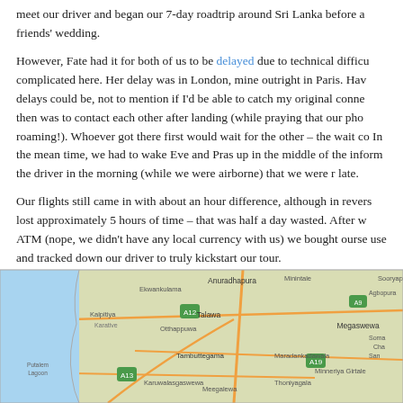meet our driver and began our 7-day roadtrip around Sri Lanka before a friends' wedding.
However, Fate had it for both of us to be delayed due to technical difficulties complicated here. Her delay was in London, mine outright in Paris. Having no idea how long the delays could be, not to mention if I'd be able to catch my original connection, the plan then was to contact each other after landing (while praying that our phones would work on roaming!). Whoever got there first would wait for the other – the wait could be hours. In the mean time, we had to wake Eve and Pras up in the middle of the night and inform the driver in the morning (while we were airborne) that we were running late.
Our flights still came in with about an hour difference, although in reverse, we lost approximately 5 hours of time – that was half a day wasted. After withdrawing from an ATM (nope, we didn't have any local currency with us) we bought ourselves a local SIM to use and tracked down our driver to truly kickstart our tour.
[Figure (map): A Google Maps satellite/road map view of Sri Lanka showing cities including Anuradhapura, Talawa, Tambuttegama, Ekwankulama, Kalpitiya, Karatve, Meegalewa, Karuwalagaswewa, Maradankadawala, Thoniyagala, Minneriya, Girtale, Megaswewa, and others with road routes marked.]